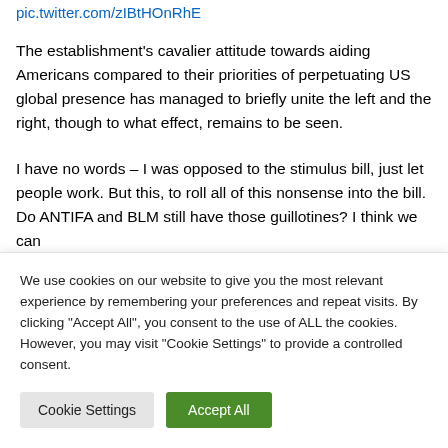pic.twitter.com/zIBtHOnRhE
The establishment's cavalier attitude towards aiding Americans compared to their priorities of perpetuating US global presence has managed to briefly unite the left and the right, though to what effect, remains to be seen.
I have no words – I was opposed to the stimulus bill, just let people work. But this, to roll all of this nonsense into the bill. Do ANTIFA and BLM still have those guillotines? I think we can find some use…
We use cookies on our website to give you the most relevant experience by remembering your preferences and repeat visits. By clicking "Accept All", you consent to the use of ALL the cookies. However, you may visit "Cookie Settings" to provide a controlled consent.